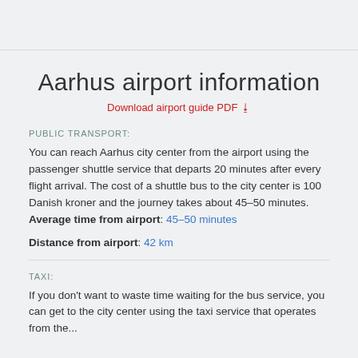Aarhus airport information
Download airport guide PDF
PUBLIC TRANSPORT:
You can reach Aarhus city center from the airport using the passenger shuttle service that departs 20 minutes after every flight arrival. The cost of a shuttle bus to the city center is 100 Danish kroner and the journey takes about 45–50 minutes. Average time from airport: 45–50 minutes
Distance from airport: 42 km
TAXI:
If you don't want to waste time waiting for the bus service, you can get to the city center using the taxi service that operates from the...